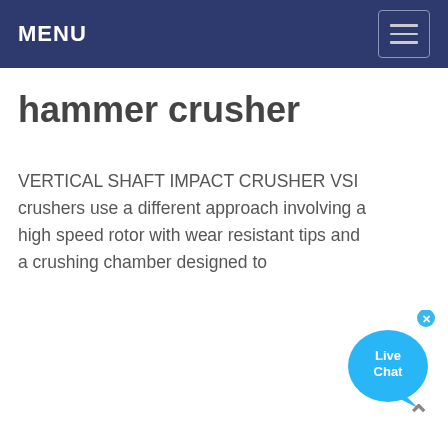MENU
hammer crusher
VERTICAL SHAFT IMPACT CRUSHER VSI crushers use a different approach involving a high speed rotor with wear resistant tips and a crushing chamber designed to
[Figure (other): Live Chat widget bubble with close button, showing 'Live Chat' text in a blue speech bubble with tail]